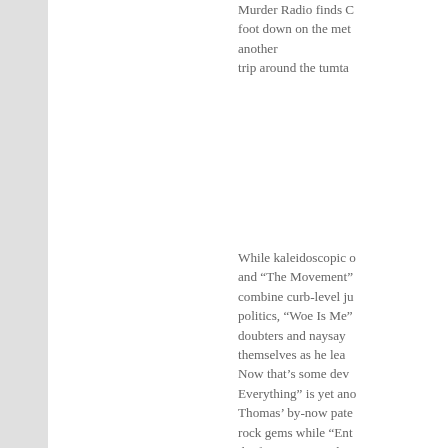Murder Radio finds C foot down on the met another trip around the tumta
While kaleidoscopic o and "The Movement" combine curb-level ju politics, "Woe Is Me" doubters and naysay themselves as he lea Now that's some dev Everything" is yet ano Thomas' by-now pate rock gems while "Ent the fuzz into a punk a "Bangaar" comes ridi hop clip and sounds l Eric B & Rakim, The Stereolab. You read t
It wouldn't be an Obn ode to the Great Gre and Murder Radio do Side Two opener "Su you until you become exactly that, so strap helmet and your fines